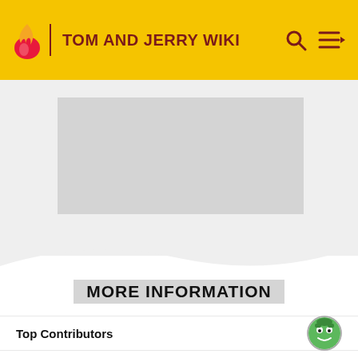TOM AND JERRY WIKI
[Figure (screenshot): Advertisement placeholder box (gray rectangle)]
ADVERTISEMENT
MORE INFORMATION
Top Contributors
Comments (0)